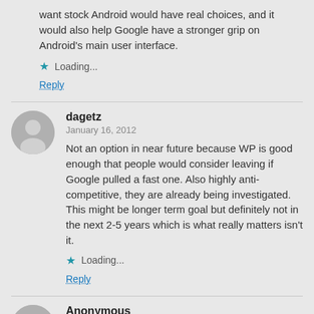want stock Android would have real choices, and it would also help Google have a stronger grip on Android's main user interface.
Loading...
Reply
dagetz
January 16, 2012
Not an option in near future because WP is good enough that people would consider leaving if Google pulled a fast one. Also highly anti-competitive, they are already being investigated. This might be longer term goal but definitely not in the next 2-5 years which is what really matters isn't it.
Loading...
Reply
Anonymous
January 16, 2012